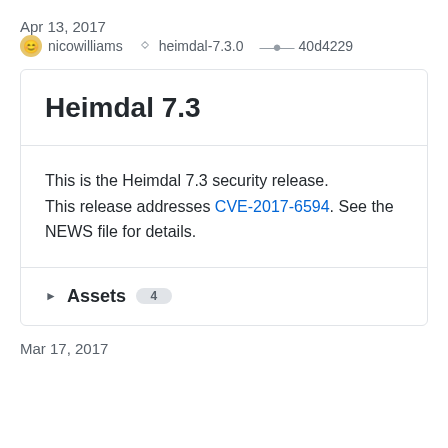Apr 13, 2017
nicowilliams   heimdal-7.3.0   40d4229
Heimdal 7.3
This is the Heimdal 7.3 security release.
This release addresses CVE-2017-6594. See the NEWS file for details.
Assets 4
Mar 17, 2017